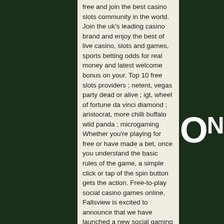free and join the best casino slots community in the world. Join the uk's leading casino brand and enjoy the best of live casino, slots and games, sports betting odds for real money and latest welcome bonus on your. Top 10 free slots providers ; netent, vegas party dead or alive ; igt, wheel of fortune da vinci diamond ; aristocrat, more chilli buffalo wild panda ; microgaming Whether you're playing for free or have made a bet, once you understand the basic rules of the game, a simple click or tap of the spin button gets the action. Free-to-play social casino games online. Fallsview is excited to announce that we have launched a new social gaming app for you to play from the comfort of. (no download, no registration)free online casino games! (no download, no registration)here at casino. Org we have a huge range of free games for you to play. Play at the world's leading online casino - pokerstars casino | exclusive range of table and live games and